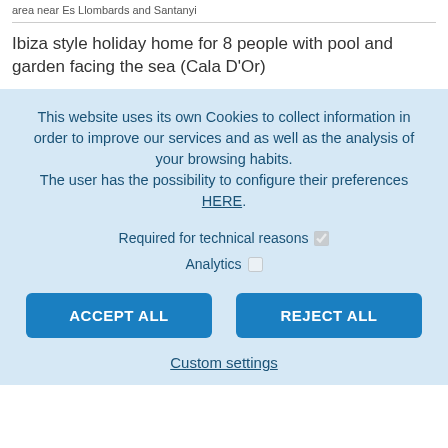area near Es Llombards and Santanyi
Ibiza style holiday home for 8 people with pool and garden facing the sea (Cala D'Or)
This website uses its own Cookies to collect information in order to improve our services and as well as the analysis of your browsing habits.
The user has the possibility to configure their preferences HERE.
Required for technical reasons ☑
Analytics ☐
ACCEPT ALL
REJECT ALL
Custom settings